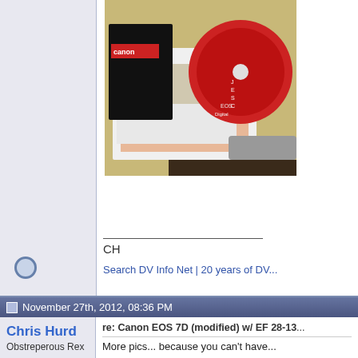[Figure (photo): Photo of Canon camera accessories including a red CD disc labeled EOS Digital, manuals and papers arranged in an open box/case]
CH
Search DV Info Net | 20 years of DV...
November 27th, 2012, 08:36 PM
Chris Hurd
Obstreperous Rex
Join Date: Jan 2001
Location: San Marcos, TX
Posts: 27,365
Images: 513
re: Canon EOS 7D (modified) w/ EF 28-13...
More pics... because you can't have...
Attached Thumbnails
[Figure (photo): Photo of a JYC Remote Switch accessory for camera]